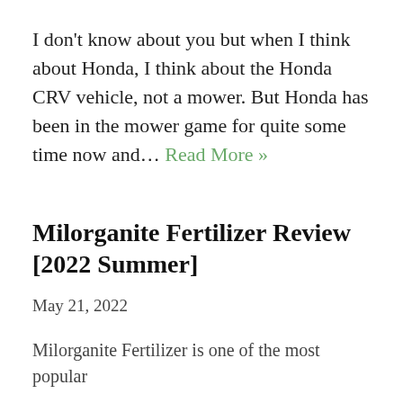I don't know about you but when I think about Honda, I think about the Honda CRV vehicle, not a mower. But Honda has been in the mower game for quite some time now and… Read More »
Milorganite Fertilizer Review [2022 Summer]
May 21, 2022
Milorganite Fertilizer is one of the most popular
x